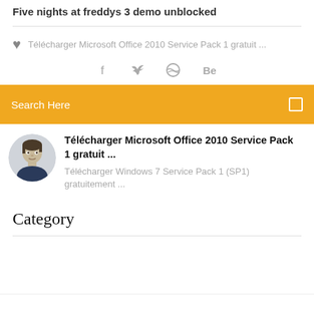Five nights at freddys 3 demo unblocked
♥ Télécharger Microsoft Office 2010 Service Pack 1 gratuit ...
[Figure (infographic): Social media icons: Facebook (f), Twitter (bird), Dribbble (circle with lines), Behance (Be)]
Search Here
Télécharger Microsoft Office 2010 Service Pack 1 gratuit ...
[Figure (photo): Circular avatar photo of a man]
Télécharger Windows 7 Service Pack 1 (SP1) gratuitement ...
Category